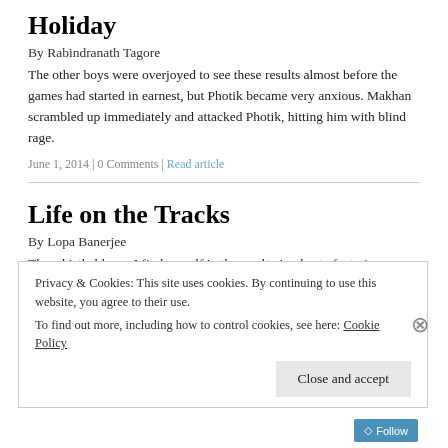Holiday
By Rabindranath Tagore
The other boys were overjoyed to see these results almost before the games had started in earnest, but Photik became very anxious. Makhan scrambled up immediately and attacked Photik, hitting him with blind rage.
June 1, 2014 | 0 Comments | Read article
Life on the Tracks
By Lopa Banerjee
The whistle blows. I find myself in the sweltering heat of a train compartment in suburban Kolkata, my tongue chained to numbness and austerity. I carry with me the rampant memories and succulent folklores of
Privacy & Cookies: This site uses cookies. By continuing to use this website, you agree to their use.
To find out more, including how to control cookies, see here: Cookie Policy
Close and accept